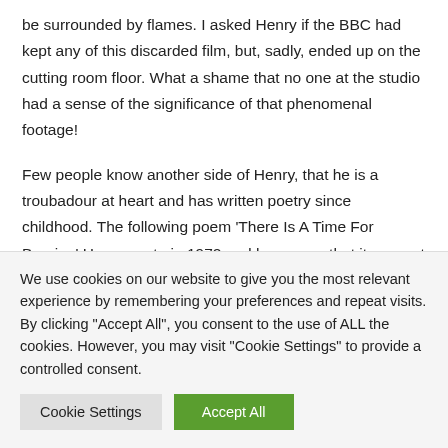be surrounded by flames. I asked Henry if the BBC had kept any of this discarded film, but, sadly, ended up on the cutting room floor. What a shame that no one at the studio had a sense of the significance of that phenomenal footage!
Few people know another side of Henry, that he is a troubadour at heart and has written poetry since childhood. The following poem 'There Is A Time For Burning' Henry wrote in 1972 and he argues that it was not inspired by the Cathar story, but by the simple turning of the seasons in rural England. I wonder though, how
We use cookies on our website to give you the most relevant experience by remembering your preferences and repeat visits. By clicking "Accept All", you consent to the use of ALL the cookies. However, you may visit "Cookie Settings" to provide a controlled consent.